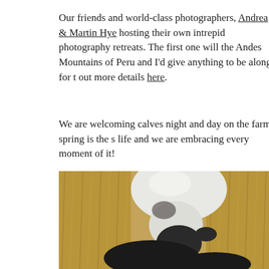Our friends and world-class photographers, Andrea & Martin Hye hosting their own intrepid photography retreats. The first one will the Andes Mountains of Peru and I'd give anything to be along for t out more details here.
We are welcoming calves night and day on the farm, spring is the s life and we are embracing every moment of it!
[Figure (photo): Close-up photograph of a black and white calf lying in hay/straw, viewed from above. The calf has a distinctive white patch on its head and is surrounded by golden straw bedding.]